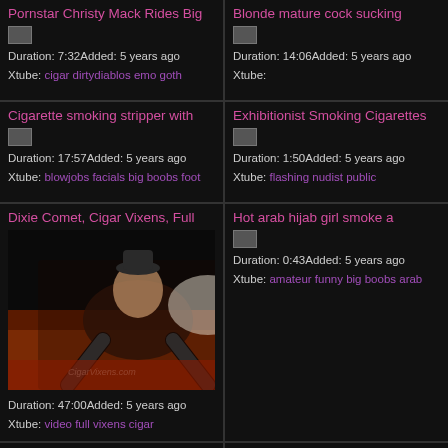Pornstar Christy Mack Rides Big
Duration: 7:32Added: 5 years ago
Xtube: cigar dirtydiablos emo goth
Blonde mature cock sucking
Duration: 14:06Added: 5 years ago
Xtube:
Cigarette smoking stripper with
Duration: 17:57Added: 5 years ago
Xtube: blowjobs facials big boobs foot
Exhibitionist Smoking Cigarettes
Duration: 1:50Added: 5 years ago
Xtube: flashing nudist public
[Figure (screenshot): Video thumbnail showing woman on bed]
Dixie Comet, Cigar Vixens, Full
Duration: 47:00Added: 5 years ago
Xtube: video full vixens cigar
Hot arab hijab girl smoke a
Duration: 0:43Added: 5 years ago
Xtube: amateur funny big boobs arab
...
...